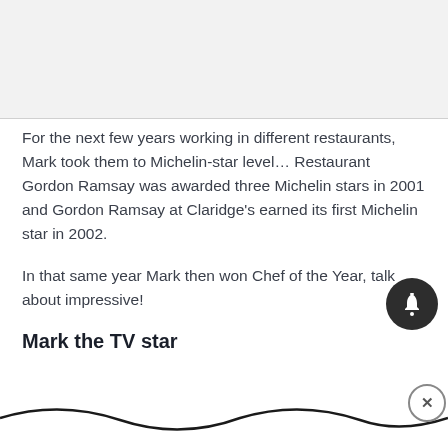[Figure (other): Gray top section background area, partially visible UI element at top]
For the next few years working in different restaurants, Mark took them to Michelin-star level… Restaurant Gordon Ramsay was awarded three Michelin stars in 2001 and Gordon Ramsay at Claridge's earned its first Michelin star in 2002.
In that same year Mark then won Chef of the Year, talk about impressive!
Mark the TV star